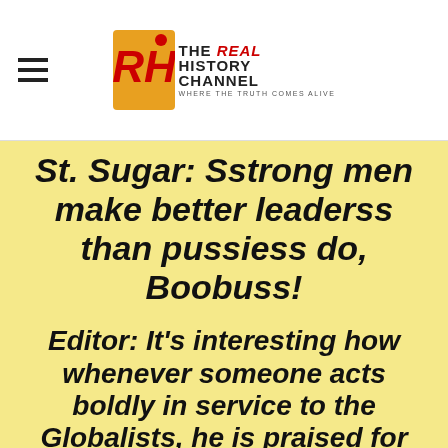THE REAL HISTORY CHANNEL — WHERE THE TRUTH COMES ALIVE
St. Sugar: Sstrong men make better leaderss than pussiess do, Boobuss!
Editor: It's interesting how whenever someone acts boldly in service to the Globalists, he is praised for his "courage" and "strong leadership." But when